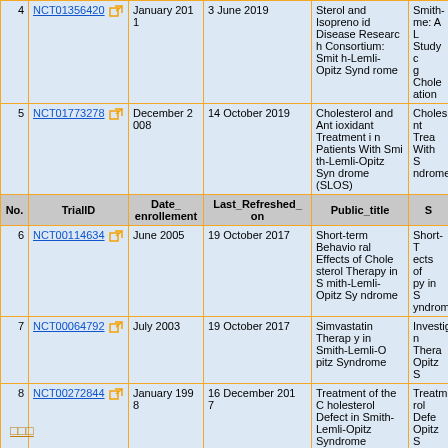| No. | TrialID | Date_enrollement | Last_Refreshed_on | Public_title | S |
| --- | --- | --- | --- | --- | --- |
| 4 | NCT01356420 | January 2011 | 3 June 2019 | Sterol and Isoprenoid Disease Research Consortium: Smith-Lemli-Opitz Syndrome | Smith-me: A L Study c g Chole ation |
| 5 | NCT01773278 | December 2008 | 14 October 2019 | Cholesterol and Antioxidant Treatment in Patients With Smith-Lemli-Opitz Syndrome (SLOS) | Choles nt Trea With S ndrome |
| 6 | NCT00114634 | June 2005 | 19 October 2017 | Short-term Behavioral Effects of Cholesterol Therapy in Smith-Lemli-Opitz Syndrome | Short-T ects of py in S yndrom |
| 7 | NCT00064792 | July 2003 | 19 October 2017 | Simvastatin Therapy in Smith-Lemli-Opitz Syndrome | Investig n Thera Opitz S |
| 8 | NCT00272844 | January 1998 | 16 December 2017 | Treatment of the Cholesterol Defect in Smith-Lemli-Opitz Syndrome | Treatm rol Defe Opitz S |
□□□